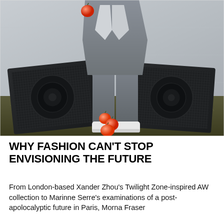[Figure (photo): A person wearing a gray suit standing between two large black speakers on dry grass in front of a concrete wall, holding an apple in one hand with more apples on the ground near their feet.]
WHY FASHION CAN'T STOP ENVISIONING THE FUTURE
From London-based Xander Zhou's Twilight Zone-inspired AW collection to Marinne Serre's examinations of a post-apolocalyptic future in Paris, Morna Fraser